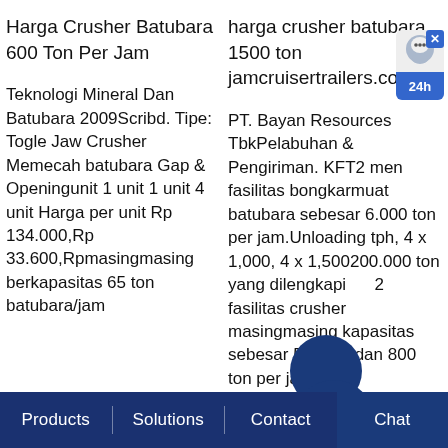Harga Crusher Batubara 600 Ton Per Jam
harga crusher batubara 1500 ton jamcruisertrailers.co.za
Teknologi Mineral Dan Batubara 2009Scribd. Tipe: Togle Jaw Crusher Memecah batubara Gap & Openingunit 1 unit 1 unit 4 unit Harga per unit Rp 134.000,Rp 33.600,Rpmasingmasing berkapasitas 65 ton batubara/jam
PT. Bayan Resources TbkPelabuhan & Pengiriman. KFT2 men fasilitas bongkarmuat batubara sebesar 6.000 ton per jam.Unloading tph, 4 x 1,000, 4 x 1,500200.000 ton yang dilengkapi an 2 fasilitas crusher masingmasing kapasitas sebesar 500 ton dan 800 ton per jam
Products   Solutions   Contact   Chat